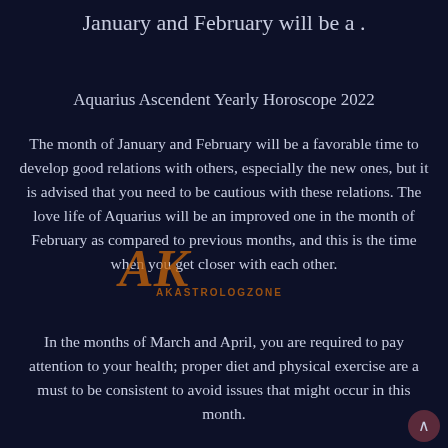January and February will be a .
Aquarius Ascendent Yearly Horoscope 2022
The month of January and February will be a favorable time to develop good relations with others, especially the new ones, but it is advised that you need to be cautious with these relations. The love life of Aquarius will be an improved one in the month of February as compared to previous months, and this is the time when you get closer with each other.
In the months of March and April, you are required to pay attention to your health; proper diet and physical exercise are a must to be consistent to avoid issues that might occur in this month.